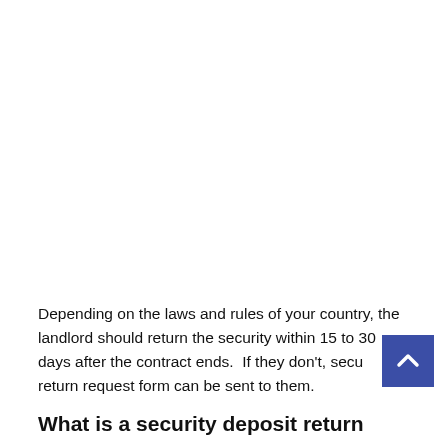Depending on the laws and rules of your country, the landlord should return the security within 15 to 30 days after the contract ends.  If they don't, security return request form can be sent to them.
What is a security deposit return